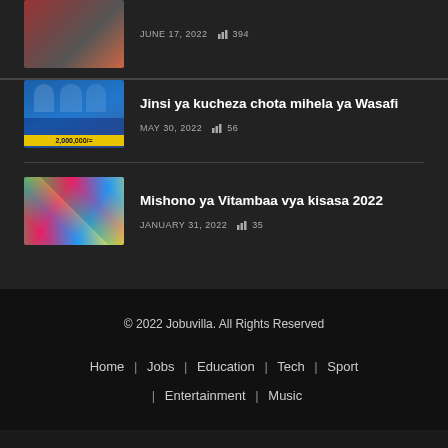JUNE 17, 2022   394
Jinsi ya kucheza chota mihela ya Wasafi
MAY 30, 2022   56
Mishono ya Vitambaa vya kisasa 2022
JANUARY 31, 2022   35
© 2022 Jobuvilla. All Rights Reserved
Home | Jobs | Education | Tech | Sport | Entertainment | Music